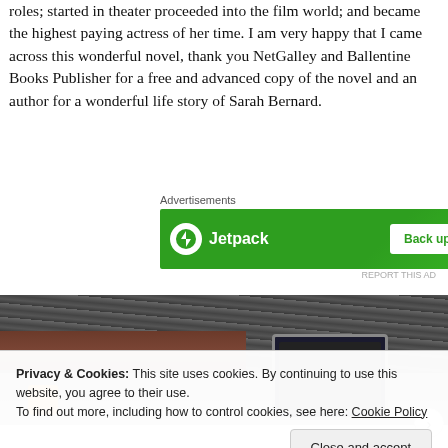roles; started in theater proceeded into the film world; and became the highest paying actress of her time. I am very happy that I came across this wonderful novel, thank you NetGalley and Ballentine Books Publisher for a free and advanced copy of the novel and an author for a wonderful life story of Sarah Bernard.
Advertisements
[Figure (other): Jetpack advertisement banner with green background. Left side shows Jetpack logo (white circle with lightning bolt) and 'Jetpack' text in white. Right side shows a white button with green text 'Back up your site'.]
REPORT THIS AD
[Figure (photo): Photo showing a stone/rock wall background with wood shelf, an orange/yellow mug on the left, and a Samsung tablet device on the right.]
Privacy & Cookies: This site uses cookies. By continuing to use this website, you agree to their use.
To find out more, including how to control cookies, see here: Cookie Policy
Close and accept